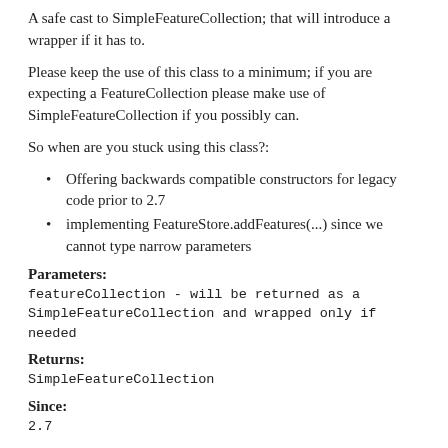A safe cast to SimpleFeatureCollection; that will introduce a wrapper if it has to.
Please keep the use of this class to a minimum; if you are expecting a FeatureCollection please make use of SimpleFeatureCollection if you possibly can.
So when are you stuck using this class?:
Offering backwards compatible constructors for legacy code prior to 2.7
implementing FeatureStore.addFeatures(...) since we cannot type narrow parameters
Parameters:
featureCollection - will be returned as a SimpleFeatureCollection and wrapped only if needed
Returns:
SimpleFeatureCollection
Since:
2.7